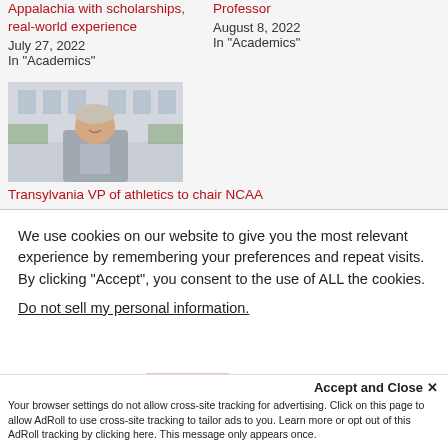Appalachia with scholarships, real-world experience
July 27, 2022
In "Academics"
Professor
August 8, 2022
In "Academics"
[Figure (photo): Photo of a woman in a grey blazer smiling, standing in front of a building]
Transylvania VP of athletics to chair NCAA
We use cookies on our website to give you the most relevant experience by remembering your preferences and repeat visits. By clicking “Accept”, you consent to the use of ALL the cookies.
Do not sell my personal information.
Accept and Close ×
Your browser settings do not allow cross-site tracking for advertising. Click on this page to allow AdRoll to use cross-site tracking to tailor ads to you. Learn more or opt out of this AdRoll tracking by clicking here. This message only appears once.